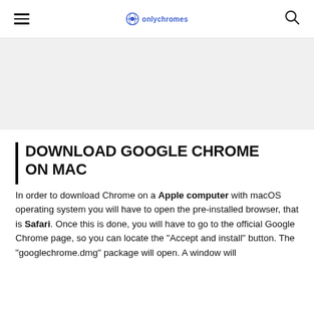onlychromes
DOWNLOAD GOOGLE CHROME ON MAC
In order to download Chrome on a Apple computer with macOS operating system you will have to open the pre-installed browser, that is Safari. Once this is done, you will have to go to the official Google Chrome page, so you can locate the "Accept and install" button. The "googlechrome.dmg" package will open. A window will